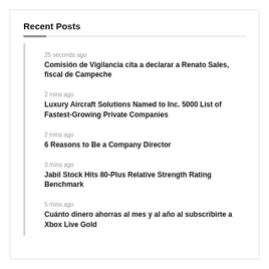Recent Posts
25 seconds ago
Comisión de Vigilancia cita a declarar a Renato Sales, fiscal de Campeche
2 mins ago
Luxury Aircraft Solutions Named to Inc. 5000 List of Fastest-Growing Private Companies
2 mins ago
6 Reasons to Be a Company Director
3 mins ago
Jabil Stock Hits 80-Plus Relative Strength Rating Benchmark
5 mins ago
Cuánto dinero ahorras al mes y al año al subscribirte a Xbox Live Gold